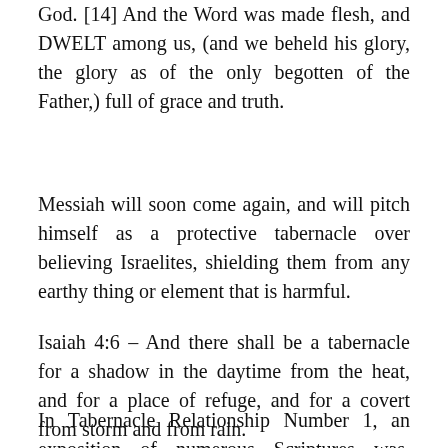God. [14] And the Word was made flesh, and DWELT among us, (and we beheld his glory, the glory as of the only begotten of the Father,) full of grace and truth.
Messiah will soon come again, and will pitch himself as a protective tabernacle over believing Israelites, shielding them from any earthy thing or element that is harmful.
Isaiah 4:6 – And there shall be a tabernacle for a shadow in the daytime from the heat, and for a place of refuge, and for a covert from storm and from rain.
In Tabernacle Relationship Number 1, an exposition of numerous Scriptures was given